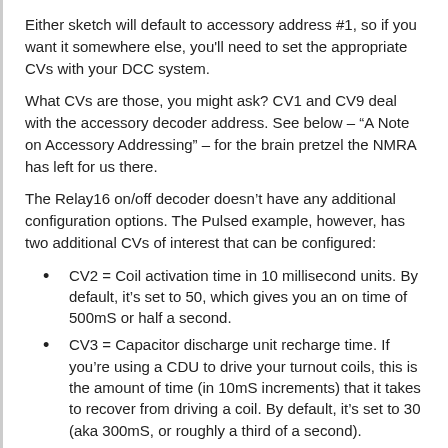Either sketch will default to accessory address #1, so if you want it somewhere else, you'll need to set the appropriate CVs with your DCC system.
What CVs are those, you might ask?  CV1 and CV9 deal with the accessory decoder address.  See below – “A Note on Accessory Addressing” – for the brain pretzel the NMRA has left for us there.
The Relay16 on/off decoder doesn’t have any additional configuration options.  The Pulsed example, however, has two additional CVs of interest that can be configured:
CV2 = Coil activation time in 10 millisecond units.  By default, it’s set to 50, which gives you an on time of 500mS or half a second.
CV3 = Capacitor discharge unit recharge time.  If you’re using a CDU to drive your turnout coils, this is the amount of time (in 10mS increments) that it takes to recover from driving a coil.  By default, it’s set to 30 (aka 300mS, or roughly a third of a second).
(Alternately, given that you have the source code, you can